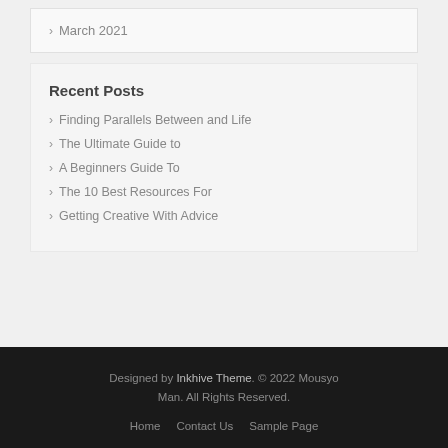March 2021
Recent Posts
Finding Parallels Between and Life
The Ultimate Guide to
A Beginners Guide To
The 10 Best Resources For
Getting Creative With Advice
Designed by Inkhive Theme. © 2022 Mousyo Man. All Rights Reserved. Home Contact Us Sample Page